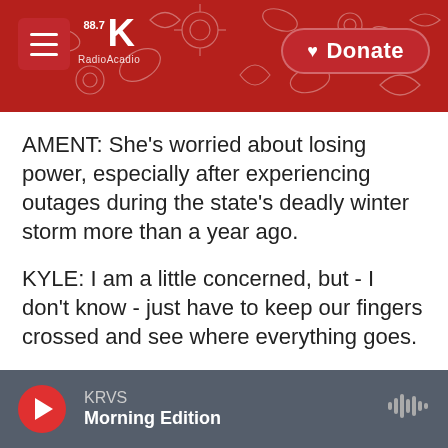[Figure (screenshot): KRVS 88.7 radio station website header banner with red floral background, hamburger menu button on left, KRVS logo in center-left, and Donate button on right]
AMENT: She's worried about losing power, especially after experiencing outages during the state's deadly winter storm more than a year ago.
KYLE: I am a little concerned, but - I don't know - just have to keep our fingers crossed and see where everything goes.
AMENT: Some places saw a little relief Tuesday and Wednesday, with temperatures not quite reaching a hundred degrees. But the triple-digit heat will return over the weekend and into next week.
KRVS Morning Edition